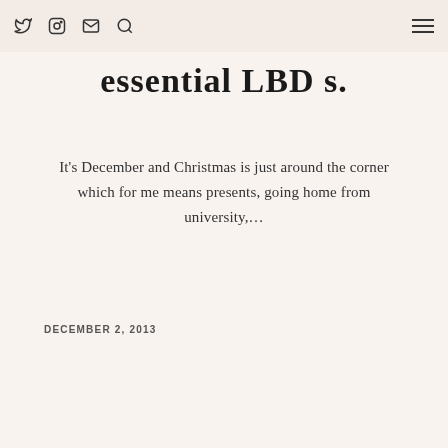Twitter Instagram Email Search [hamburger menu]
essential LBD s.
It's December and Christmas is just around the corner which for me means presents, going home from university,…
DECEMBER 2, 2013